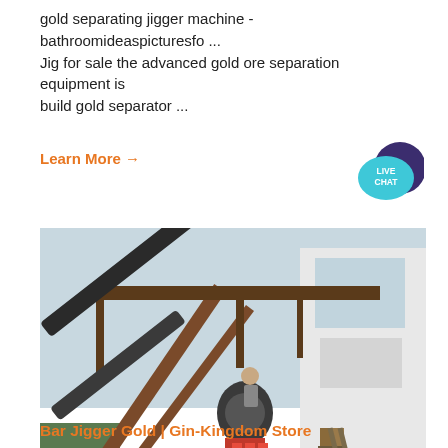gold separating jigger machine - bathroomideaspicturesfo ... Jig for sale the advanced gold ore separation equipment is build gold separator ...
Learn More →
[Figure (photo): Mining equipment site with conveyor belts, metal scaffolding, a cone crusher machine, stairs, and a white building. Watermark reads MINING EQUIPMENT ACRUSHER with green chevron logos.]
Bar Jigger Gold | Gin-Kingdom Store